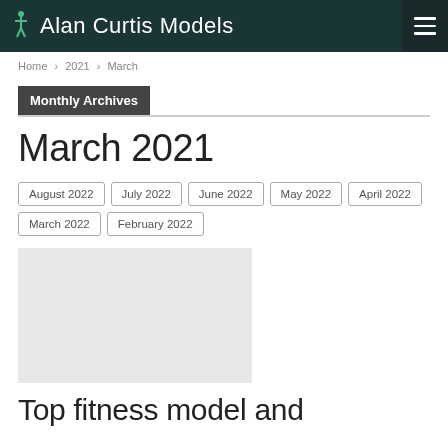Alan Curtis Models
Home › 2021 › March
Monthly Archives
March 2021
August 2022
July 2022
June 2022
May 2022
April 2022
March 2022
February 2022
[Figure (photo): Gray placeholder image rectangle]
Top fitness model and